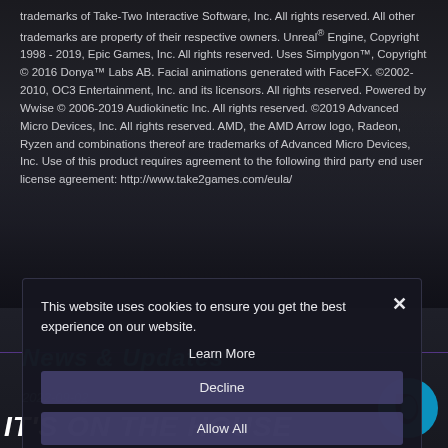trademarks of Take-Two Interactive Software, Inc. All rights reserved. All other trademarks are property of their respective owners. Unreal® Engine, Copyright 1998 - 2019, Epic Games, Inc. All rights reserved. Uses Simplygon™, Copyright © 2016 Donya™ Labs AB. Facial animations generated with FaceFX. ©2002-2010, OC3 Entertainment, Inc. and its licensors. All rights reserved. Powered by Wwise © 2006-2019 Audiokinetic Inc. All rights reserved. ©2019 Advanced Micro Devices, Inc. All rights reserved. AMD, the AMD Arrow logo, Radeon, Ryzen and combinations thereof are trademarks of Advanced Micro Devices, Inc. Use of this product requires agreement to the following third party end user license agreement: http://www.take2games.com/eula/
This website uses cookies to ensure you get the best experience on our website.
Learn More
News & Updates
Decline
Allow All
2022-09-02
IT'S ON THE HOUSE